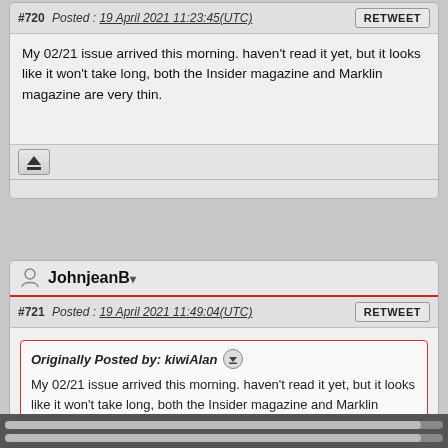#720  Posted : 19 April 2021 11:23:45(UTC)
My 02/21 issue arrived this morning. haven't read it yet, but it looks like it won't take long, both the Insider magazine and Marklin magazine are very thin.
JohnjeanB
#721  Posted : 19 April 2021 11:49:04(UTC)
Originally Posted by: kiwiAlan
My 02/21 issue arrived this morning. haven't read it yet, but it looks like it won't take long, both the Insider magazine and Marklin magazine are very thin.